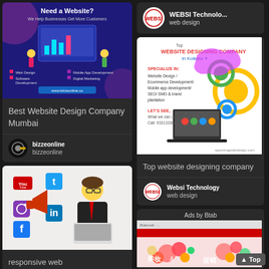[Figure (screenshot): Web design promotional banner - Need a Website? We Help Businesses Get More Customers. Shows web design illustration with figures and screens. Lists: Web Design, Software Development, Mobile App Development, Digital Marketing. URL: www.bizzeonline.co]
Best Website Design Company Mumbai
[Figure (logo): bizzeonline circular logo with key icon]
bizzeonline
bizzeonline
[Figure (screenshot): Social media marketing illustration showing person with megaphone, social media icons: YouTube, Twitter, Instagram, Facebook, LinkedIn]
responsive web
[Figure (logo): WEBSI Technology circular logo]
WEBSI Technolo...
web design
[Figure (screenshot): Top Website Designing Company in Kolkata. Specialize in: Website Design / Ecommerce Development / Mobile app development / SEO/SMO & brand promotion. LET'S SEE: What we can do for you! Call: 9331333603. spanningwebdesign.com]
Top website designing company
[Figure (logo): Websi Technology circular logo]
Websi Technology
web design
Ads by Btab
[Figure (screenshot): Btab ad showing a website with fruits/food imagery and Chinese characters 美妆 促销]